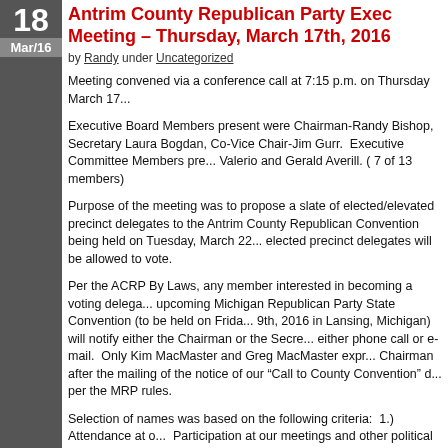18 Mar/16
Antrim County Republican Party Executive Meeting – Thursday, March 17th, 2016
by Randy under Uncategorized
Meeting convened via a conference call at 7:15 p.m. on Thursday March 17...
Executive Board Members present were Chairman-Randy Bishop, Secretary Laura Bogdan, Co-Vice Chair-Jim Gurr. Executive Committee Members present: Valerio and Gerald Averill. ( 7 of 13 members)
Purpose of the meeting was to propose a slate of elected/elevated precinct delegates to the Antrim County Republican Convention being held on Tuesday, March 22... elected precinct delegates will be allowed to vote.
Per the ACRP By Laws, any member interested in becoming a voting delegate at the upcoming Michigan Republican Party State Convention (to be held on Friday 9th, 2016 in Lansing, Michigan) will notify either the Chairman or the Secretary by either phone call or e-mail. Only Kim MacMaster and Greg MacMaster expressed interest to Chairman after the mailing of the notice of our “Call to County Convention” per the MRP rules.
Selection of names was based on the following criteria: 1.) Attendance at our meetings; 2.) Participation at our meetings and other political activities; and 3.) Informed knowledge of Presidential candidates.
The seven elected/elevated precinct delegates to be our ACRP voting Delegates at the State Convention on April 8th and 9th. were: